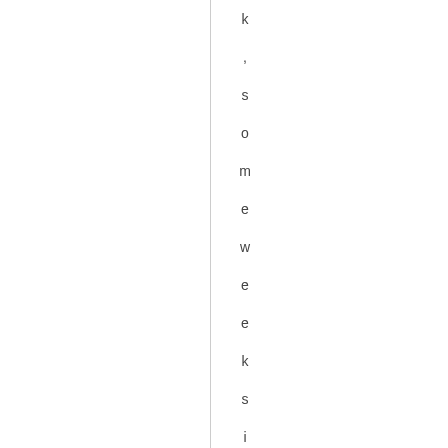k , s o m e w e e k s i , d b e o u t i n b u g